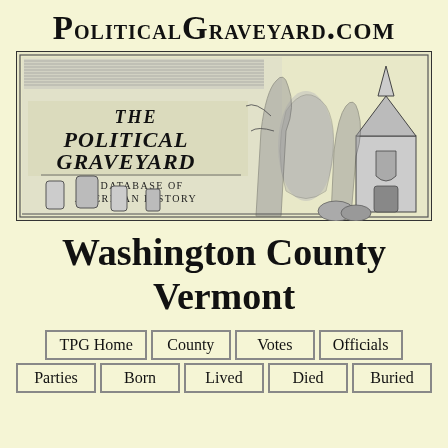PoliticalGraveyard.com
[Figure (illustration): The Political Graveyard - A Database of American History logo illustration showing a graveyard scene with tombstones, trees, and a gothic chapel, rendered in black and white engraving style]
Washington County Vermont
TPG Home | County | Votes | Officials | Parties | Born | Lived | Died | Buried